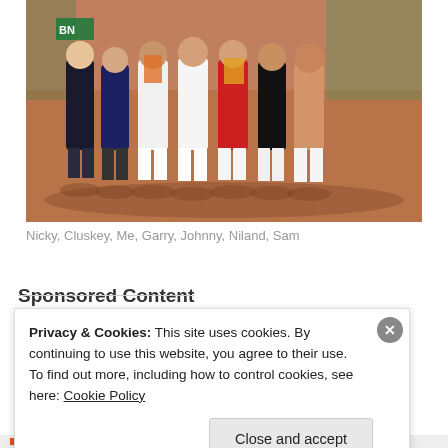[Figure (photo): Group of seven men standing together on a clay tennis court. Some are wearing white sports clothes, one is shirtless, one is wearing black. Some hold flags (Irish green/white/orange, Spanish red/yellow). Background shows court fence and some green shrubbery. Sunny day.]
Nicky, Cluskey, Me, Garry, Johnny, Niland, Sam
Sponsored Content
Privacy & Cookies: This site uses cookies. By continuing to use this website, you agree to their use.
To find out more, including how to control cookies, see here: Cookie Policy
Close and accept